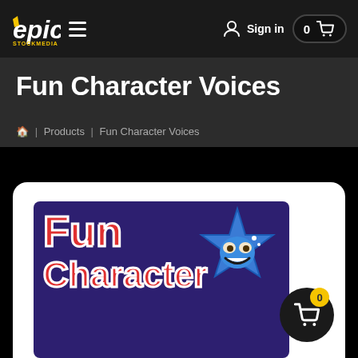Epic Stock Media — Sign in  0 (cart)
Fun Character Voices
🏠 | Products | Fun Character Voices
[Figure (screenshot): Product thumbnail showing 'Fun Character' text in red on a dark purple background with a blue star mascot character with a happy face]